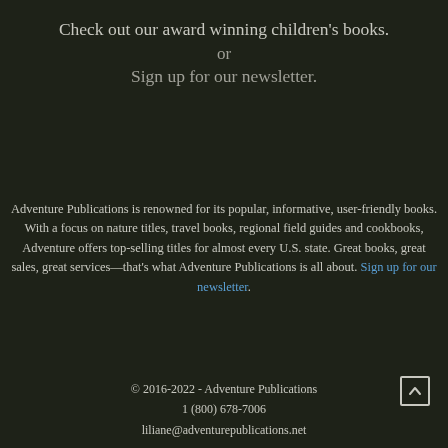Check out our award winning children's books.
or
Sign up for our newsletter.
Adventure Publications is renowned for its popular, informative, user-friendly books. With a focus on nature titles, travel books, regional field guides and cookbooks, Adventure offers top-selling titles for almost every U.S. state. Great books, great sales, great services—that's what Adventure Publications is all about. Sign up for our newsletter.
© 2016-2022 - Adventure Publications
1 (800) 678-7006
liliane@adventurepublications.net